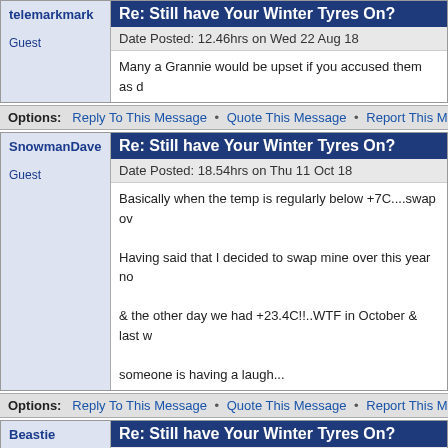telemarkmark
Guest
Re: Still have Your Winter Tyres On?
Date Posted: 12.46hrs on Wed 22 Aug 18
Many a Grannie would be upset if you accused them as d
Options: Reply To This Message • Quote This Message • Report This Messa
SnowmanDave
Guest
Re: Still have Your Winter Tyres On?
Date Posted: 18.54hrs on Thu 11 Oct 18
Basically when the temp is regularly below +7C....swap ov
Having said that I decided to swap mine over this year no
& the other day we had +23.4C!!..WTF in October & last w
someone is having a laugh...
Options: Reply To This Message • Quote This Message • Report This Messa
Beastie
Guest
Re: Still have Your Winter Tyres On?
Date Posted: 20.28hrs on Thu 11 Oct 18
Get used to it - the jet stream is whipping about like an un
Options: Reply To This Message • Quote This Message • Report This Messa
WindyMiller
Re: Still have Your Winter Tyres On?
Date Posted: 17.11hrs on Fri 12 Oct 18